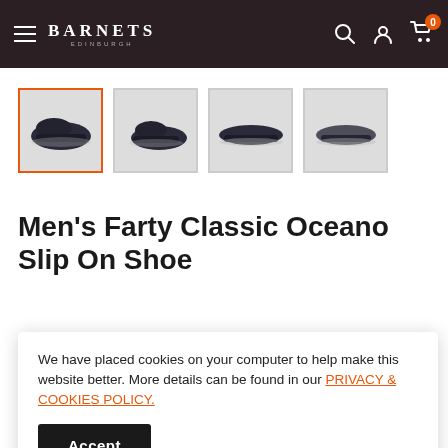BARNETS EDINBURGH
[Figure (photo): Four thumbnail views of a dark navy slip-on shoe (Men's Farty Classic Oceano Slip On Shoe). First thumbnail is selected with orange border.]
Men's Farty Classic Oceano Slip On Shoe
Save 70%
We have placed cookies on your computer to help make this website better. More details can be found in our PRIVACY & COOKIES POLICY.
Accept